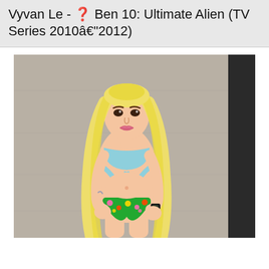Vyvan Le - ❓ Ben 10: Ultimate Alien (TV Series 2010â€"2012)
[Figure (photo): A young woman with long blonde hair wearing a light blue bandeau crop top with wrap-around straps and colorful floral bikini bottoms, posing against a grey concrete wall.]